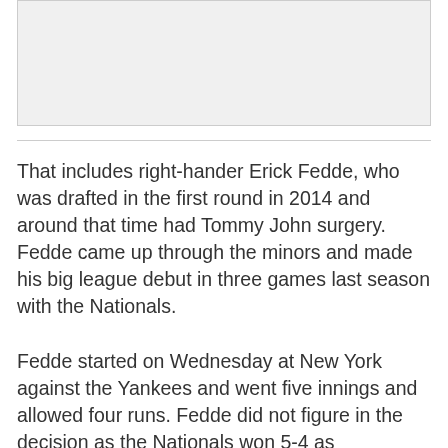[Figure (photo): Partial image/photo placeholder at the top of the page, gray background]
That includes right-hander Erick Fedde, who was drafted in the first round in 2014 and around that time had Tommy John surgery. Fedde came up through the minors and made his big league debut in three games last season with the Nationals.
Fedde started on Wednesday at New York against the Yankees and went five innings and allowed four runs. Fedde did not figure in the decision as the Nationals won 5-4 as